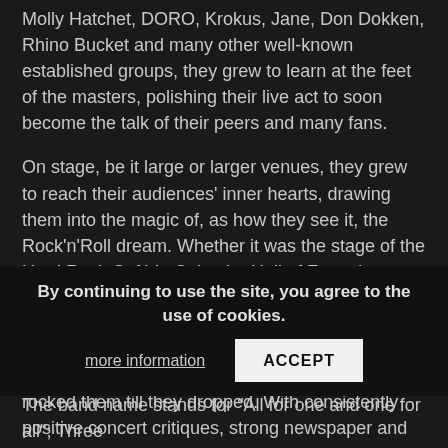Molly Hatchet, DORO, Krokus, Jane, Don Dokken, Rhino Bucket and many other well-known established groups, they grew to learn at the feet of the masters, polishing their live act to soon become the talk of their peers and many fans.
On stage, be it large or larger venues, they grew to reach their audiences' inner hearts, drawing them into the magic of, as how they see it, the Rock'n'Roll dream. Whether it was the stage of the Hard Rock Café in Oslo, the Hall of Fame in Wetzikon, Z7 in Pratteln, the Alpenrock House in Zürich, the Albani-Club in Winterthur, the Open-Air Appenzell or Europe's biggest Biker meeting in Sumiswald (Bern), ME AND THE REST really rocked them till they dropped. With consistently positive concert critiques, strong newspaper and genre magazine reviews about their CD releases, they placed themselves as a musical pearl in the demanding world of Hard Rock.
By continuing to use the site, you agree to the use of cookies.
The band name stands for "All for one and one for all"; Three